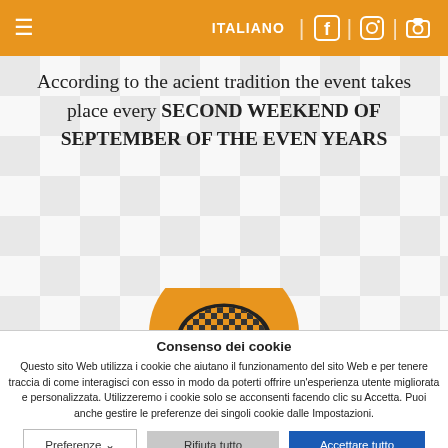ITALIANO
According to the acient tradition the event takes place every SECOND WEEKEND OF SEPTEMBER OF THE EVEN YEARS
[Figure (logo): Orange circle with a checkered hat/cone logo in black and yellow]
Consenso dei cookie
Questo sito Web utilizza i cookie che aiutano il funzionamento del sito Web e per tenere traccia di come interagisci con esso in modo da poterti offrire un'esperienza utente migliorata e personalizzata. Utilizzeremo i cookie solo se acconsenti facendo clic su Accetta. Puoi anche gestire le preferenze dei singoli cookie dalle Impostazioni.
Preferenze | Rifiuta tutto | Accettare tutto